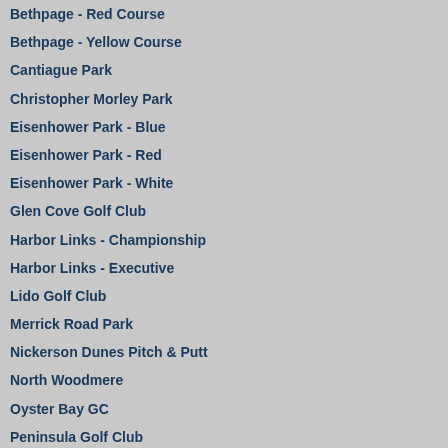Bethpage - Red Course
Bethpage - Yellow Course
Cantiague Park
Christopher Morley Park
Eisenhower Park - Blue
Eisenhower Park - Red
Eisenhower Park - White
Glen Cove Golf Club
Harbor Links - Championship
Harbor Links - Executive
Lido Golf Club
Merrick Road Park
Nickerson Dunes Pitch & Putt
North Woodmere
Oyster Bay GC
Peninsula Golf Club
The Golf Club at Middle Bay (fka South Bay CC)
SUFFOLK FLYOVERS
Bergen Point
Brentwood Country Club
Calverton Links
[A full Eisenhower White Course flyover wo... here for the updated post.]
Eisenhower Park's Red Course gets most of the Champions Tour and its high marks from... White and Blue courses each have good golf... conveniently located in the center of the cou... inexpensive for Nassau residents (with a Leis... anyone away with natural beauty, it certainly... destination providing 54 holes of quality gol...
The White Course is purely functional. The... literally, nine holes straight out and straight b... exactly the same. What separates the course... character is its bunkering -- every green is el... one mid-sized to large sand trap, and every t... to intimidating fairway bunker.
To some golfers, the White's uninspiring desi... course's personality as the sand traps. When... that day's round at the White, his first respon... are the same?"
This style can still be very appealing. Player... easily walk will enjoy the White, as will thos...